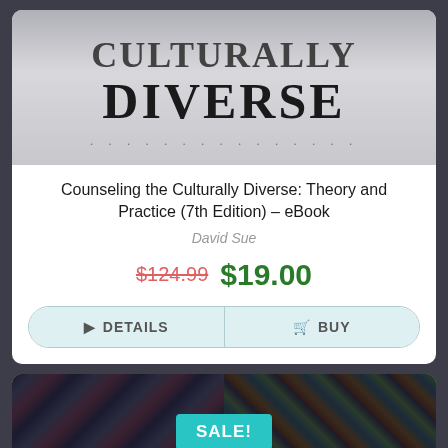[Figure (screenshot): Book cover showing 'CULTURALLY DIVERSE' text in large serif font on a grey gradient background]
Counseling the Culturally Diverse: Theory and Practice (7th Edition) – eBook
David Sue
$124.99 $19.00
DETAILS  BUY
[Figure (photo): Second product card showing a dark illustrated/graphic image with a teal SALE! badge and reCAPTCHA badge in the bottom right corner]